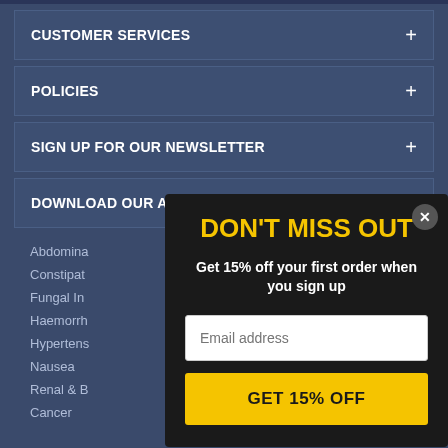CUSTOMER SERVICES +
POLICIES +
SIGN UP FOR OUR NEWSLETTER +
DOWNLOAD OUR APPS +
DON'T MISS OUT
Get 15% off your first order when you sign up
Email address
GET 15% OFF
Abdomina
Constipat
Fungal In
Haemorrh
Hypertens
Nausea
Renal & B
Cancer